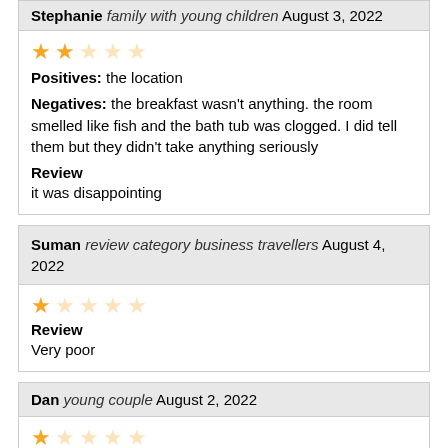Stephanie family with young children August 3, 2022
★★☆☆☆ Positives: the location Negatives: the breakfast wasn't anything. the room smelled like fish and the bath tub was clogged. I did tell them but they didn't take anything seriously Review it was disappointing
Suman review category business travellers August 4, 2022
★☆☆☆☆ Review Very poor
Dan young couple August 2, 2022
★☆☆☆☆ Review Very poor